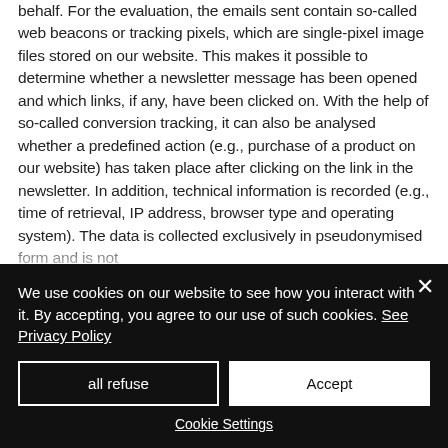behalf. For the evaluation, the emails sent contain so-called web beacons or tracking pixels, which are single-pixel image files stored on our website. This makes it possible to determine whether a newsletter message has been opened and which links, if any, have been clicked on. With the help of so-called conversion tracking, it can also be analysed whether a predefined action (e.g., purchase of a product on our website) has taken place after clicking on the link in the newsletter. In addition, technical information is recorded (e.g., time of retrieval, IP address, browser type and operating system). The data is collected exclusively in pseudonymised form and is not
We use cookies on our website to see how you interact with it. By accepting, you agree to our use of such cookies. See Privacy Policy
all refuse
Accept
Cookie Settings